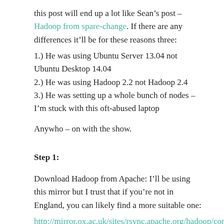this post will end up a lot like Sean's post – Hadoop from spare-change. If there are any differences it'll be for these reasons three:
1.) He was using Ubuntu Server 13.04 not Ubuntu Desktop 14.04
2.) He was using Hadoop 2.2 not Hadoop 2.4
3.) He was setting up a whole bunch of nodes – I'm stuck with this oft-abused laptop
Anywho – on with the show.
Step 1:
Download Hadoop from Apache: I'll be using this mirror but I trust that if you're not in England, you can likely find a more suitable one:
http://mirror.ox.ac.uk/sites/rsync.apache.org/hadoop/commo 2.4.0/hadoop-2.4.0.t...